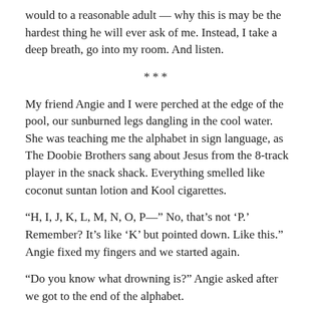would to a reasonable adult — why this is may be the hardest thing he will ever ask of me. Instead, I take a deep breath, go into my room. And listen.
***
My friend Angie and I were perched at the edge of the pool, our sunburned legs dangling in the cool water. She was teaching me the alphabet in sign language, as The Doobie Brothers sang about Jesus from the 8-track player in the snack shack. Everything smelled like coconut suntan lotion and Kool cigarettes.
“H, I, J, K, L, M, N, O, P—” No, that’s not ‘P.’ Remember? It’s like ‘K’ but pointed down. Like this.” Angie fixed my fingers and we started again.
“Do you know what drowning is?” Angie asked after we got to the end of the alphabet.